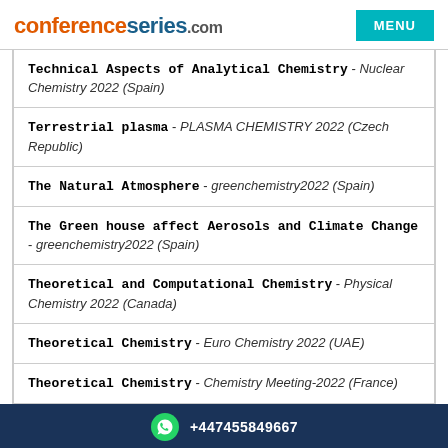conferenceseries.com — MENU
Technical Aspects of Analytical Chemistry - Nuclear Chemistry 2022 (Spain)
Terrestrial plasma - PLASMA CHEMISTRY 2022 (Czech Republic)
The Natural Atmosphere - greenchemistry2022 (Spain)
The Green house affect Aerosols and Climate Change - greenchemistry2022 (Spain)
Theoretical and Computational Chemistry - Physical Chemistry 2022 (Canada)
Theoretical Chemistry - Euro Chemistry 2022 (UAE)
Theoretical Chemistry - Chemistry Meeting-2022 (France)
+447455849667
Chemistry 2022 (Italy)